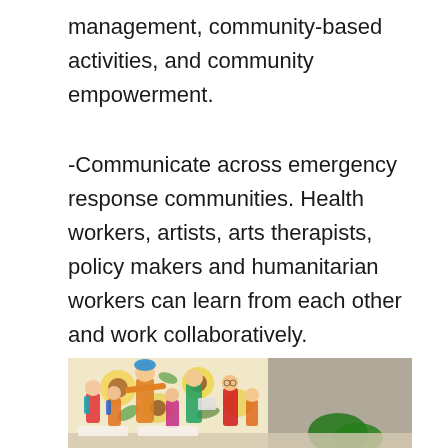management, community-based activities, and community empowerment.
-Communicate across emergency response communities. Health workers, artists, arts therapists, policy makers and humanitarian workers can learn from each other and work collaboratively.
[Figure (photo): A colorful outdoor performance scene with adults and children in bright costumes, dancing and performing in front of a floral mural backdrop.]